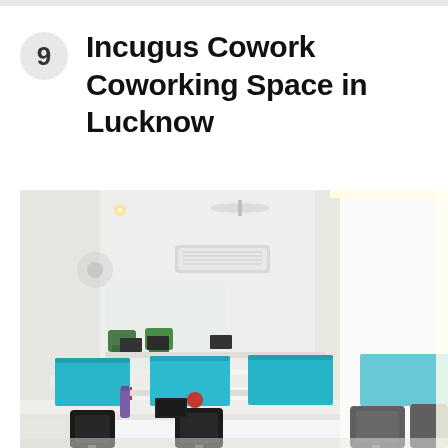9 Incugus Cowork Coworking Space in Lucknow
[Figure (photo): Interior photograph of Incugus Cowork coworking space in Lucknow, showing rows of white desks with bright blue divider panels, black mesh office chairs, and colorful green and red chairs in the background. The space has white walls, ceiling fans, air conditioning units, and bright lighting.]